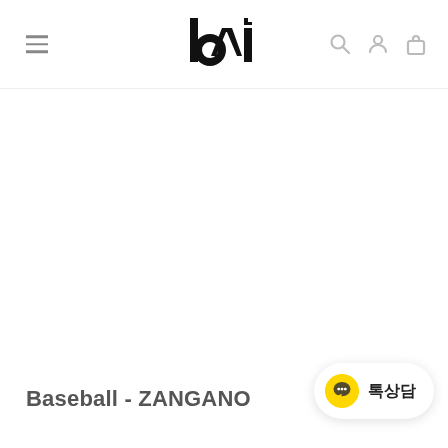bvi (logo) — navigation header with hamburger menu and icons
Baseball - ZANGANO
[Figure (logo): Yellow speech bubble chat button with Korean text 톡상담]